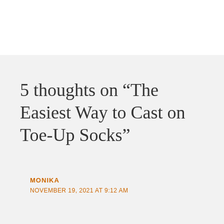5 thoughts on “The Easiest Way to Cast on Toe-Up Socks”
MONIKA
NOVEMBER 19, 2021 AT 9:12 AM
[Figure (other): Pure Earth advertisement banner: black left panel with text 'We believe the global pollution crisis can be solved.' and smaller text 'In a world where pollution doesn’t stop at borders, we can all be part of the solution. JOIN US.' Right panel white with Pure Earth logo (diamond/chevron icon and bold text PURE EARTH).]